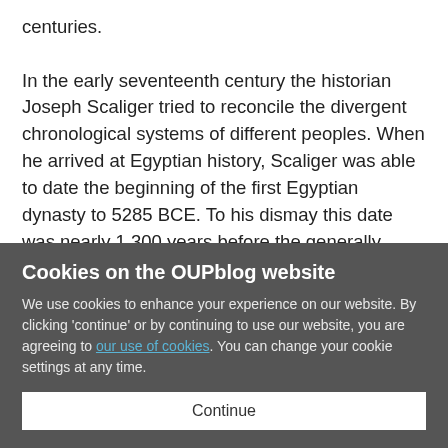centuries. In the early seventeenth century the historian Joseph Scaliger tried to reconcile the divergent chronological systems of different peoples. When he arrived at Egyptian history, Scaliger was able to date the beginning of the first Egyptian dynasty to 5285 BCE. To his dismay this date was nearly 1,300 years before the generally accepted date of Creation, which according to biblical chronology had to be around 4000 BCE. Although Scaliger tried to save the
Cookies on the OUPblog website
We use cookies to enhance your experience on our website. By clicking 'continue' or by continuing to use our website, you are agreeing to our use of cookies. You can change your cookie settings at any time.
Continue